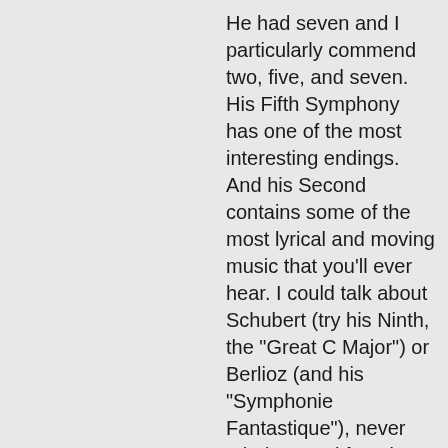He had seven and I particularly commend two, five, and seven. His Fifth Symphony has one of the most interesting endings. And his Second contains some of the most lyrical and moving music that you'll ever hear. I could talk about Schubert (try his Ninth, the "Great C Major") or Berlioz (and his "Symphonie Fantastique"), never mind several favorites not even mentioned (Dvorak, Tchaikovsky, Shostakovich). Another time! Just don't let all this good time musically be spent doing nothing. Listen to sacred music. Listen to serious music.